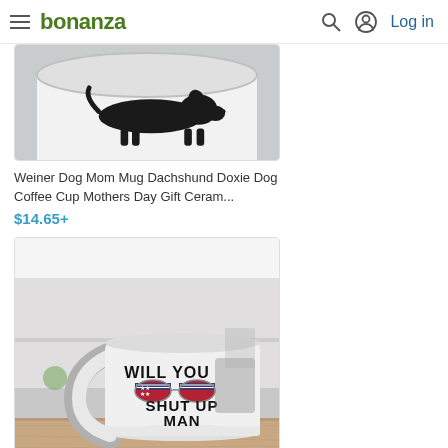bonanza — Log in
[Figure (photo): White ceramic mug with black dachshund dog silhouette on it, partially cropped at top]
Weiner Dog Mom Mug Dachshund Doxie Dog Coffee Cup Mothers Day Gift Ceram...
$14.65+
[Figure (photo): White ceramic mug with 'WILL YOU SHUT UP MAN' text and American flag sunglasses graphic, photographed in kitchen setting on wooden surface]
Will You Shut Up Man Mug | Vintage...